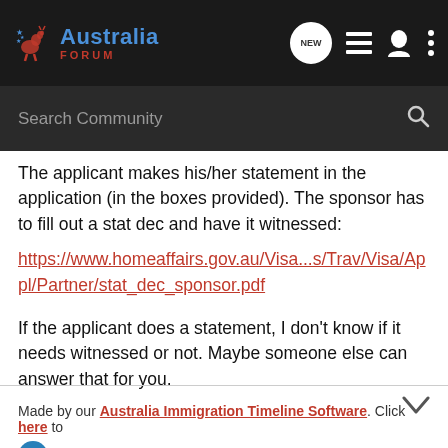Australia Forum — Search Community
The applicant makes his/her statement in the application (in the boxes provided). The sponsor has to fill out a stat dec and have it witnessed:
https://www.homeaffairs.gov.au/Visa...s/Trav/Visa/Appl/Partner/stat_dec_sponsor.pdf
If the applicant does a statement, I don't know if it needs witnessed or not. Maybe someone else can answer that for you.
Made by our Australia Immigration Timeline Software. Click here to
BallyOz